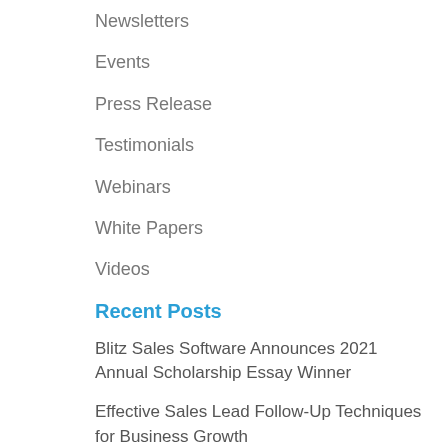Newsletters
Events
Press Release
Testimonials
Webinars
White Papers
Videos
Recent Posts
Blitz Sales Software Announces 2021 Annual Scholarship Essay Winner
Effective Sales Lead Follow-Up Techniques for Business Growth
12 Effective Email Marketing Strategies to